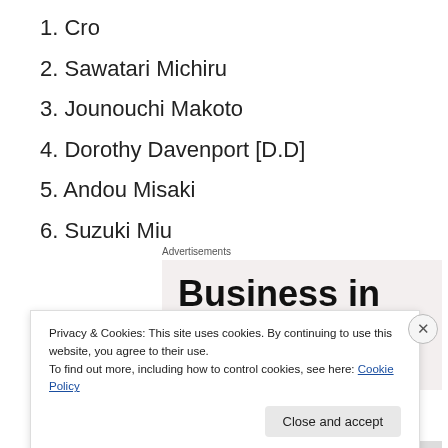1. Cro
2. Sawatari Michiru
3. Jounouchi Makoto
4. Dorothy Davenport [D.D]
5. Andou Misaki
6. Suzuki Miu
Advertisements
[Figure (other): Advertisement banner showing text 'Business in the front']
Privacy & Cookies: This site uses cookies. By continuing to use this website, you agree to their use.
To find out more, including how to control cookies, see here: Cookie Policy
Close and accept